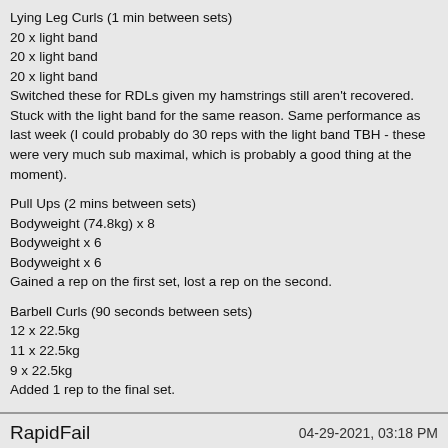Lying Leg Curls (1 min between sets)
20 x light band
20 x light band
20 x light band
Switched these for RDLs given my hamstrings still aren't recovered. Stuck with the light band for the same reason. Same performance as last week (I could probably do 30 reps with the light band TBH - these were very much sub maximal, which is probably a good thing at the moment).
Pull Ups (2 mins between sets)
Bodyweight (74.8kg) x 8
Bodyweight x 6
Bodyweight x 6
Gained a rep on the first set, lost a rep on the second.
Barbell Curls (90 seconds between sets)
12 x 22.5kg
11 x 22.5kg
9 x 22.5kg
Added 1 rep to the final set.
RapidFail    04-29-2021, 03:18 PM
Meso 2